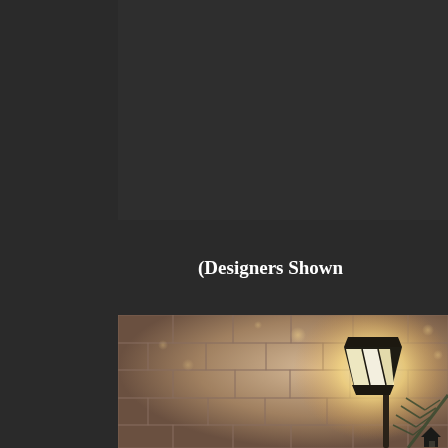(Designers Shown
[Figure (photo): Exterior wall lantern light mounted on a stone brick wall, with pine tree branches in the foreground, glowing warmly against a dark background with bokeh light effects]